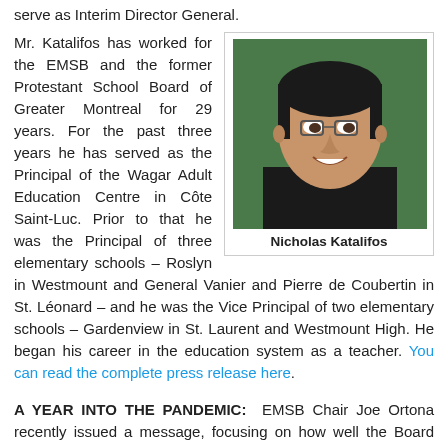serve as Interim Director General.
[Figure (photo): Headshot photo of Nicholas Katalifos, a middle-aged man with dark hair and glasses, wearing a black shirt, smiling against a green background.]
Nicholas Katalifos
Mr. Katalifos has worked for the EMSB and the former Protestant School Board of Greater Montreal for 29 years. For the past three years he has served as the Principal of the Wagar Adult Education Centre in Côte Saint-Luc. Prior to that he was the Principal of three elementary schools – Roslyn in Westmount and General Vanier and Pierre de Coubertin in St. Léonard – and he was the Vice Principal of two elementary schools – Gardenview in St. Laurent and Westmount High. He began his career in the education system as a teacher. You can read the complete press release here.
A YEAR INTO THE PANDEMIC:  EMSB Chair Joe Ortona recently issued a message, focusing on how well the Board has performed despite the obstacles created by the COVID-